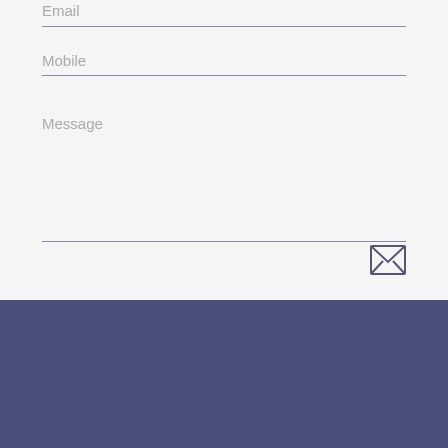Email
Mobile
Message
[Figure (other): Envelope/send icon (SVG illustration of a letter/email icon in dark gray outline)]
Robinson
NEWCASTLE
77 Glebe Rd (cnr Union St), The Junction NSW 2291